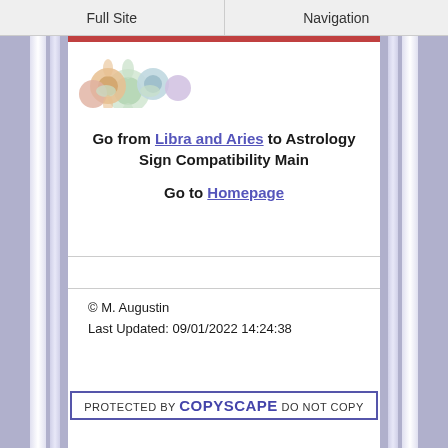Full Site | Navigation
[Figure (illustration): Floral decorative image at top of page with colorful flowers]
Go from Libra and Aries to Astrology Sign Compatibility Main

Go to Homepage
© M. Augustin
Last Updated: 09/01/2022 14:24:38
[Figure (other): PROTECTED BY COPYSCAPE DO NOT COPY badge]